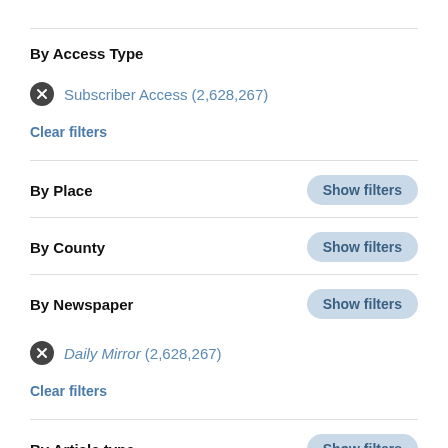By Access Type
Subscriber Access (2,628,267)
Clear filters
By Place
By County
By Newspaper
Daily Mirror (2,628,267)
Clear filters
By Article type